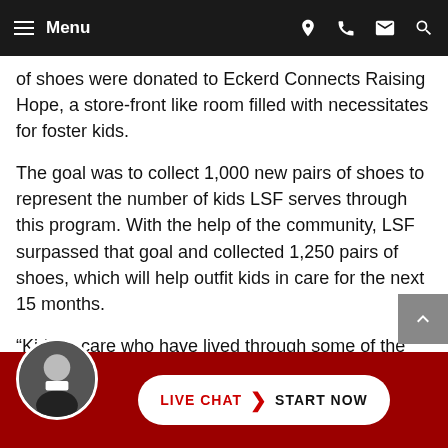Menu
of shoes were donated to Eckerd Connects Raising Hope, a store-front like room filled with necessitates for foster kids.
The goal was to collect 1,000 new pairs of shoes to represent the number of kids LSF serves through this program. With the help of the community, LSF surpassed that goal and collected 1,250 pairs of shoes, which will help outfit kids in care for the next 15 months.
“Kids in care who have lived through some of the most traumatic situations deserve this level of community support and engagement,” Heather King, Executive Program Director for LSF said. “Every day many of these organizations that participated work together to provide stability and care for foster ki... thi... in new
LIVE CHAT › START NOW